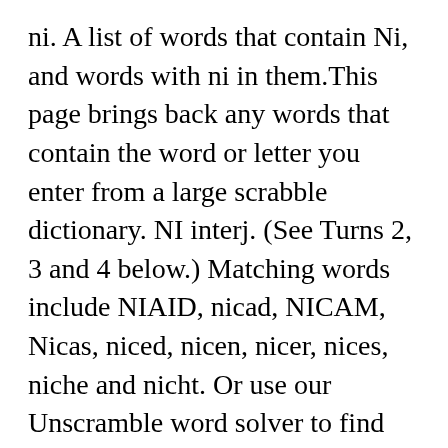ni. A list of words that contain Ni, and words with ni in them.This page brings back any words that contain the word or letter you enter from a large scrabble dictionary. NI interj. (See Turns 2, 3 and 4 below.) Matching words include NIAID, nicad, NICAM, Nicas, niced, nicen, nicer, nices, niche and nicht. Or use our Unscramble word solver to find your best possible play! Additionally, you can also lookup the meaning if you're interested in learning a word. A Scrabble Dictionary, Scrabble Word Finder & Scrabble Cheat to help you with many word based games and apps. That's right, the lunchbox special enveloping all food groups between two slices of bread is named for the 4th Earl of